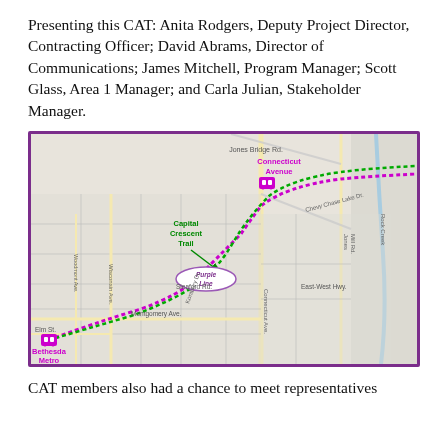Presenting this CAT: Anita Rodgers, Deputy Project Director, Contracting Officer; David Abrams, Director of Communications; James Mitchell, Program Manager; Scott Glass, Area 1 Manager; and Carla Julian, Stakeholder Manager.
[Figure (map): Map showing the Purple Line route in the Maryland/DC area, with green dotted line indicating Capital Crescent Trail and purple/magenta dotted line showing the Purple Line route. Key landmarks labeled include Connecticut Avenue station, Bethesda Metro station, Jones Bridge Rd., Chevy Chase Lake Dr., East-West Hwy., Montgomery Ave., Sleaford Rd., Wisconsin Ave., Woodmont Ave., Kontbury Dr., Jones Mill Rd., and Rock Creek.]
CAT members also had a chance to meet representatives